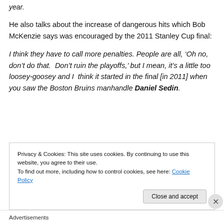year.
He also talks about the increase of dangerous hits which Bob McKenzie says was encouraged by the 2011 Stanley Cup final:
I think they have to call more penalties. People are all, ‘Oh no, don’t do that.  Don’t ruin the playoffs,’ but I mean, it’s a little too loosey-goosey and I  think it started in the final [in 2011] when you saw the Boston Bruins manhandle Daniel Sedin.
Privacy & Cookies: This site uses cookies. By continuing to use this website, you agree to their use.
To find out more, including how to control cookies, see here: Cookie Policy
Close and accept
Advertisements